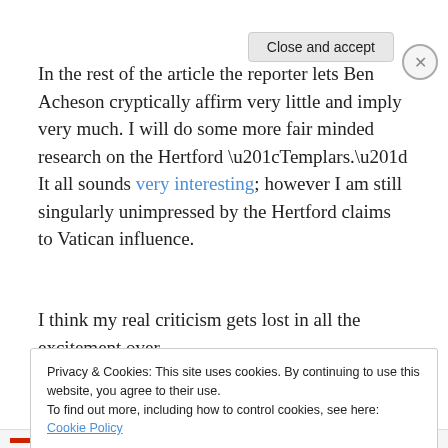In the rest of the article the reporter lets Ben Acheson cryptically affirm very little and imply very much. I will do some more fair minded research on the Hertford “Templars.” It all sounds very interesting; however I am still singularly unimpressed by the Hertford claims to Vatican influence.
I think my real criticism gets lost in all the excitement over
Privacy & Cookies: This site uses cookies. By continuing to use this website, you agree to their use.
To find out more, including how to control cookies, see here: Cookie Policy